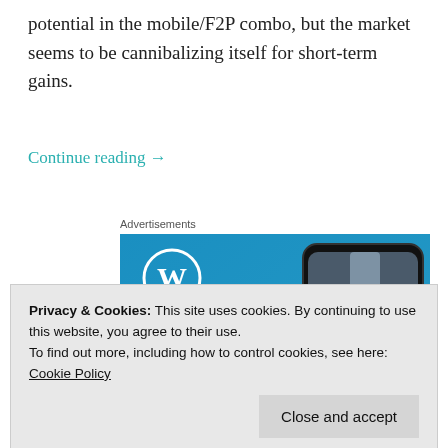potential in the mobile/F2P combo, but the market seems to be cannibalizing itself for short-term gains.
Continue reading →
Advertisements
[Figure (illustration): WordPress advertisement showing blue gradient background with WordPress logo (W in circle), a smartphone displaying 'VISITING SKOGAFOSS' over a waterfall image, and text reading 'Create immersive stories']
Privacy & Cookies: This site uses cookies. By continuing to use this website, you agree to their use.
To find out more, including how to control cookies, see here: Cookie Policy
Close and accept
Beach, candy crush saga, Clash of Clans, Clash of Clones, f2p,